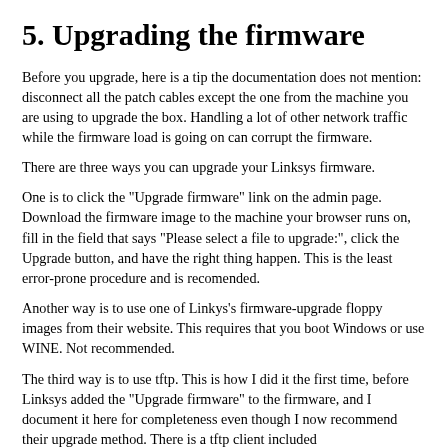5. Upgrading the firmware
Before you upgrade, here is a tip the documentation does not mention: disconnect all the patch cables except the one from the machine you are using to upgrade the box. Handling a lot of other network traffic while the firmware load is going on can corrupt the firmware.
There are three ways you can upgrade your Linksys firmware.
One is to click the "Upgrade firmware" link on the admin page. Download the firmware image to the machine your browser runs on, fill in the field that says "Please select a file to upgrade:", click the Upgrade button, and have the right thing happen. This is the least error-prone procedure and is recomended.
Another way is to use one of Linkys's firmware-upgrade floppy images from their website. This requires that you boot Windows or use WINE. Not recommended.
The third way is to use tftp. This is how I did it the first time, before Linksys added the "Upgrade firmware" to the firmware, and I document it here for completeness even though I now recommend their upgrade method. There is a tftp client included